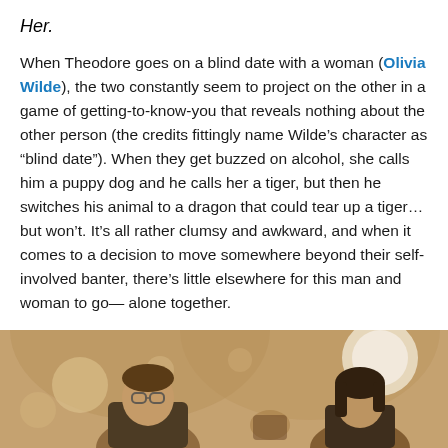Her.
When Theodore goes on a blind date with a woman (Olivia Wilde), the two constantly seem to project on the other in a game of getting-to-know-you that reveals nothing about the other person (the credits fittingly name Wilde’s character as “blind date”). When they get buzzed on alcohol, she calls him a puppy dog and he calls her a tiger, but then he switches his animal to a dragon that could tear up a tiger… but won’t. It’s all rather clumsy and awkward, and when it comes to a decision to move somewhere beyond their self-involved banter, there’s little elsewhere for this man and woman to go— alone together.
[Figure (photo): A sepia-toned photograph showing two people in a restaurant or bar setting with round pendant lights visible in the background. The scene appears to be from a film, likely depicting the blind date scene described in the text.]